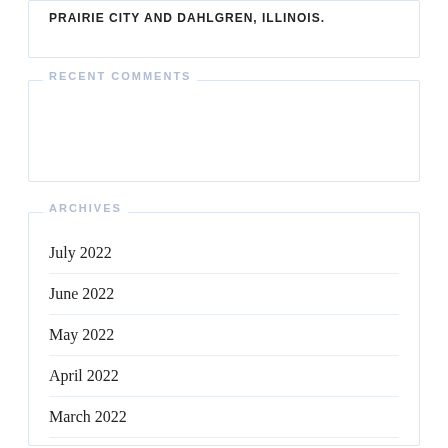PRAIRIE CITY AND DAHLGREN, ILLINOIS.
RECENT COMMENTS
ARCHIVES
July 2022
June 2022
May 2022
April 2022
March 2022
February 2022